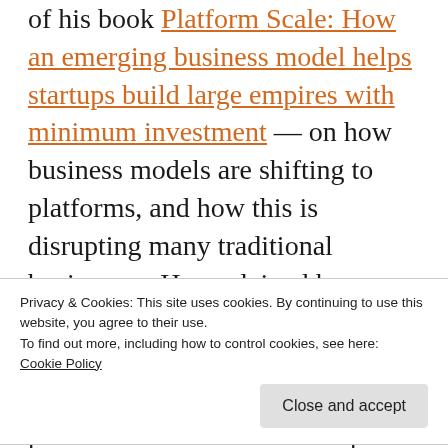of his book Platform Scale: How an emerging business model helps startups build large empires with minimum investment — on how business models are shifting to platforms, and how this is disrupting many traditional businesses. He explained how supply-side economies of scale, machine learning and network effects are allowing online platforms like Amazon to impact real-world industries such as logistics. Traditional businesses in telecom, financial services, healthcare and
Privacy & Cookies: This site uses cookies. By continuing to use this website, you agree to their use. To find out more, including how to control cookies, see here: Cookie Policy
market that build platforms, gather customer